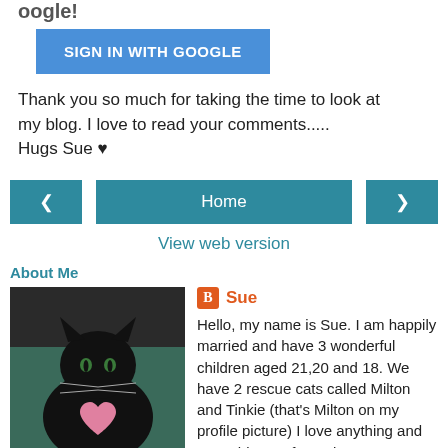Google
[Figure (screenshot): Blue 'SIGN IN WITH GOOGLE' button]
Thank you so much for taking the time to look at my blog. I love to read your comments.....
Hugs Sue ♥
[Figure (screenshot): Navigation bar with left arrow, Home button, and right arrow, plus View web version link]
About Me
[Figure (photo): Photo of a black cat with a pink heart on its chest, on a teal/dark background]
Sue
Hello, my name is Sue. I am happily married and have 3 wonderful children aged 21,20 and 18. We have 2 rescue cats called Milton and Tinkie (that's Milton on my profile picture) I love anything and everything crafty and I am very lucky to design for a few craft magazines which is such an honour and great fun!